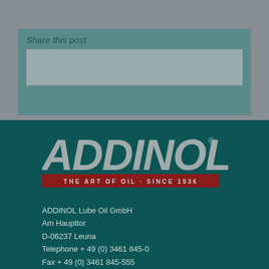Share this post
[Figure (logo): ADDINOL logo with text 'THE ART OF OIL · SINCE 1936' on a red banner]
ADDINOL Lube Oil GmbH
Am Haupttor
D-06237 Leuna

Telephone + 49 (0) 3461 845-0
Fax + 49 (0) 3461 845-555